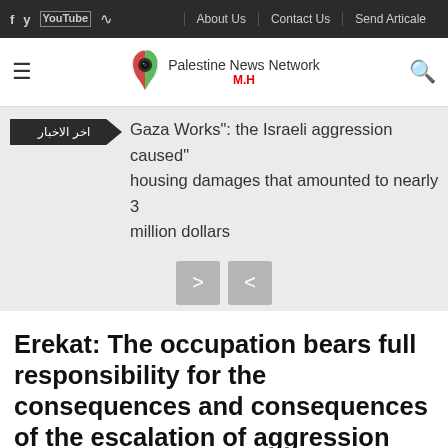f  y  yt  )  |  About Us  |  Contact Us  |  Send Articale
[Figure (logo): Palestine News Network logo with stylized map icon and text 'Palestine News Network M.H']
Gaza Works": the Israeli aggression caused housing damages that amounted to nearly 3 million dollars"
Erekat: The occupation bears full responsibility for the consequences and consequences of the escalation of aggression against the Palestinian people
الرئيسية